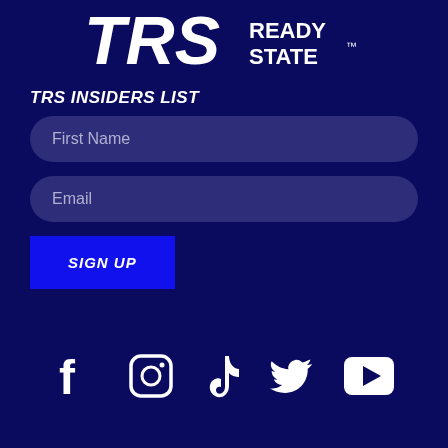[Figure (logo): TRS READY STATE logo in white on dark navy background]
TRS INSIDERS LIST
First Name (input field placeholder)
Email (input field placeholder)
SIGN UP (button)
[Figure (illustration): Social media icons: Facebook, Instagram, TikTok, Twitter/X, YouTube — all white on dark navy background]